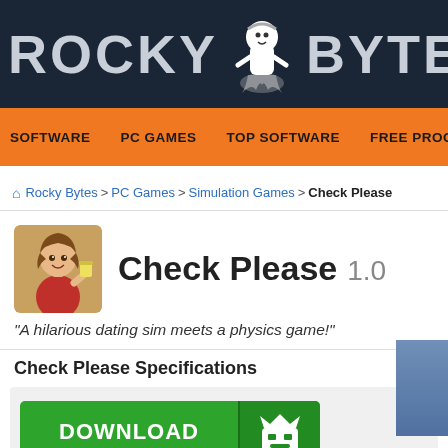ROCKY BYTES
SOFTWARE | PC GAMES | TOP SOFTWARE | FREE PROGRAMS
Rocky Bytes > PC Games > Simulation Games > Check Please
Check Please 1.0
"A hilarious dating sim meets a physics game!"
Check Please Specifications
[Figure (screenshot): Download button: DOWNLOAD Free (20.84 MB), green button with shield icon. Safe Download for PC - Virus & Malware Free]
Safe Download for PC - Virus & Malware Free